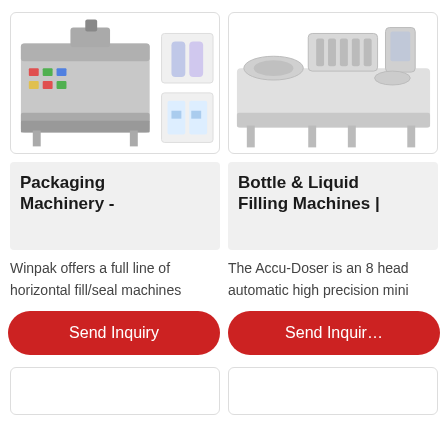[Figure (photo): Packaging machinery - horizontal fill/seal machine with control panel on left, and small product images on right showing tubes and pouches]
[Figure (photo): Bottle & Liquid Filling Machine - industrial multi-head automatic filling machine, white/silver colored]
Packaging Machinery -
Bottle & Liquid Filling Machines |
Winpak offers a full line of horizontal fill/seal machines
The Accu-Doser is an 8 head automatic high precision mini
Send Inquiry
Send Inquiry
[Figure (photo): Bottom left product card - partially visible]
[Figure (photo): Bottom right product card - partially visible]